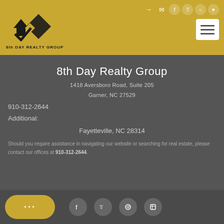[Figure (logo): 8th Day Realty Group logo with gold diamond/house icon and text below]
8th Day Realty Group
1418 Aversboro Road, Suite 205
Garner, NC 27529
910-312-2644
Additional:
Fayetteville, NC 28314
Should you require assistance in navigating our website or searching for real estate, please contact our offices at 910-312-2644.